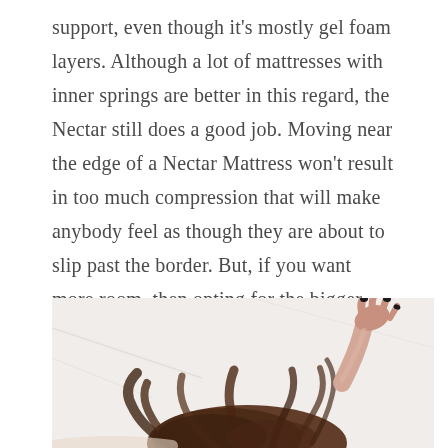support, even though it's mostly gel foam layers. Although a lot of mattresses with inner springs are better in this regard, the Nectar still does a good job. Moving near the edge of a Nectar Mattress won't result in too much compression that will make anybody feel as though they are about to slip past the border. But, if you want more room, then opting for the bigger Nectar Mattress sizes is always a good idea.
[Figure (photo): A person lying face-down on a white bed, with dark curly hair spread out and one hand with dark nail polish raised/extended upward.]